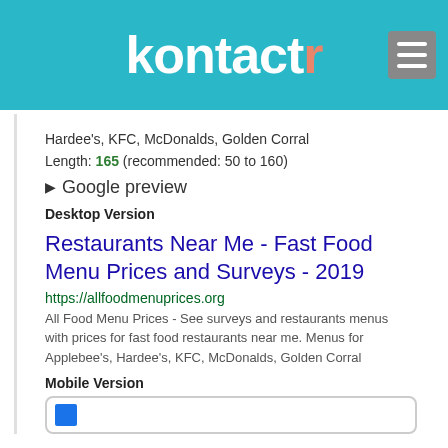[Figure (logo): Kontactr logo with teal background and hamburger menu icon]
Hardee's, KFC, McDonalds, Golden Corral
Length: 165 (recommended: 50 to 160)
▶ Google preview
Desktop Version
Restaurants Near Me - Fast Food Menu Prices and Surveys - 2019
https://allfoodmenuprices.org
All Food Menu Prices - See surveys and restaurants menus with prices for fast food restaurants near me. Menus for Applebee's, Hardee's, KFC, McDonalds, Golden Corral
Mobile Version